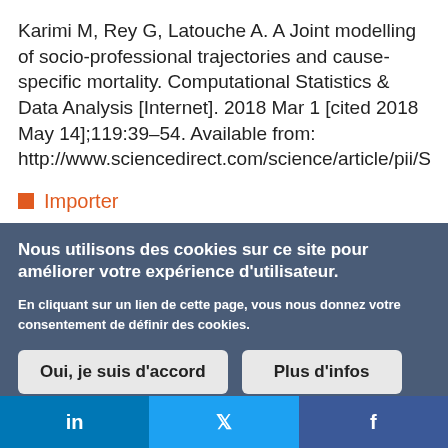Karimi M, Rey G, Latouche A. A Joint modelling of socio-professional trajectories and cause-specific mortality. Computational Statistics & Data Analysis [Internet]. 2018 Mar 1 [cited 2018 May 14];119:39–54. Available from: http://www.sciencedirect.com/science/article/pii/S
Importer
Nous utilisons des cookies sur ce site pour améliorer votre expérience d'utilisateur.
En cliquant sur un lien de cette page, vous nous donnez votre consentement de définir des cookies.
Oui, je suis d'accord | Plus d'infos
in  f